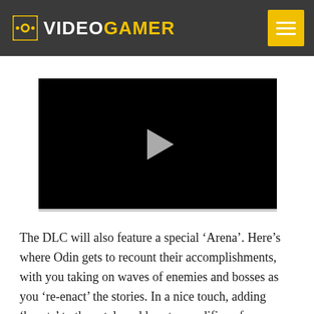VideoGamer
[Figure (screenshot): Embedded video player with black background and a grey play button triangle in the center]
The DLC will also feature a special ‘Arena’. Here’s where Odin gets to recount their accomplishments, with you taking on waves of enemies and bosses as you ‘re-enact’ the stories. In a nice touch, adding ‘boasts’ to these tales adds extra modifiers, for an extra challenge for more rewards.